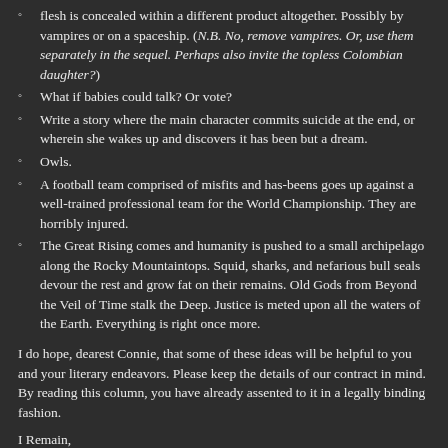flesh is concealed within a different product altogether. Possibly by vampires or on a spaceship. (N.B. No, remove vampires. Or, use them separately in the sequel. Perhaps also invite the topless Colombian daughter?)
What if babies could talk? Or vote?
Write a story where the main character commits suicide at the end, or wherein she wakes up and discovers it has been but a dream.
Owls.
A football team comprised of misfits and has-beens goes up against a well-trained professional team for the World Championship. They are horribly injured.
The Great Rising comes and humanity is pushed to a small archipelago along the Rocky Mountaintops. Squid, sharks, and nefarious bull seals devour the rest and grow fat on their remains. Old Gods from Beyond the Veil of Time stalk the Deep. Justice is meted upon all the waters of the Earth. Everything is right once more.
I do hope, dearest Connie, that some of these ideas will be helpful to you and your literary endeavors. Please keep the details of our contract in mind. By reading this column, you have already assented to it in a legally binding fashion.
I Remain,